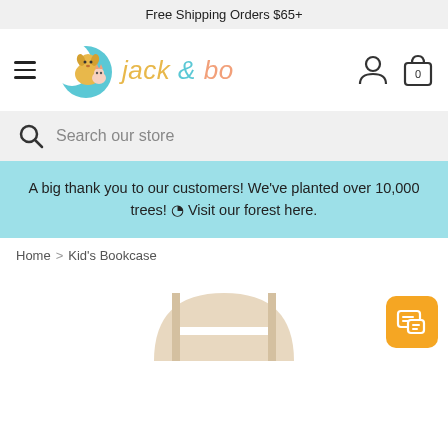Free Shipping Orders $65+
[Figure (logo): Jack & Bo store logo with teal moon, dog and cat, and stylized brand name 'jack & bo' in colorful italic text]
Search our store
A big thank you to our customers! We've planted over 10,000 trees! ⊙ Visit our forest here.
Home > Kid's Bookcase
[Figure (photo): Partial view of a kids wooden bookcase in natural/beige wood color, showing the top portion]